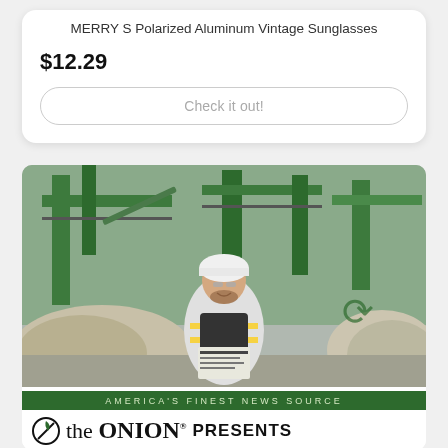MERRY S Polarized Aluminum Vintage Sunglasses
$12.29
Check it out!
[Figure (photo): Worker in white hard hat and high-visibility vest holding a newspaper, standing in a large recycling facility with green industrial machinery and piles of recyclable materials in the background. Green company logo visible on the right.]
AMERICA'S FINEST NEWS SOURCE
the ONION PRESENTS